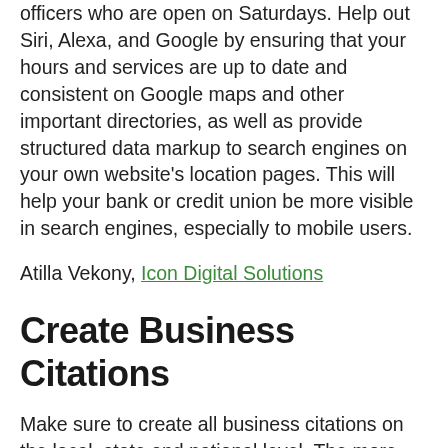officers who are open on Saturdays. Help out Siri, Alexa, and Google by ensuring that your hours and services are up to date and consistent on Google maps and other important directories, as well as provide structured data markup to search engines on your own website's location pages. This will help your bank or credit union be more visible in search engines, especially to mobile users.
Atilla Vekony, Icon Digital Solutions
Create Business Citations
Make sure to create all business citations on the local, state and national level. The more business citations you can create the more chance you will